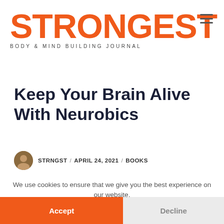STRONGEST / BODY & MIND BUILDING JOURNAL
Keep Your Brain Alive With Neurobics
STRNGST / APRIL 24, 2021 / BOOKS
We use cookies to ensure that we give you the best experience on our website.
Accept
Decline